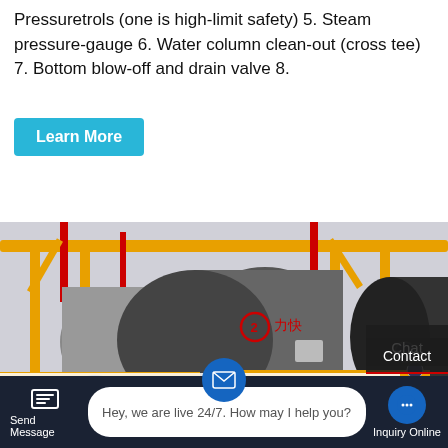Pressuretrols (one is high-limit safety) 5. Steam pressure-gauge 6. Water column clean-out (cross tee) 7. Bottom blow-off and drain valve 8.
[Figure (photo): Industrial steam boilers in a factory setting with yellow and red pipes, large cylindrical boiler tanks, and concrete floor.]
High Tech 1 ton steam boiler